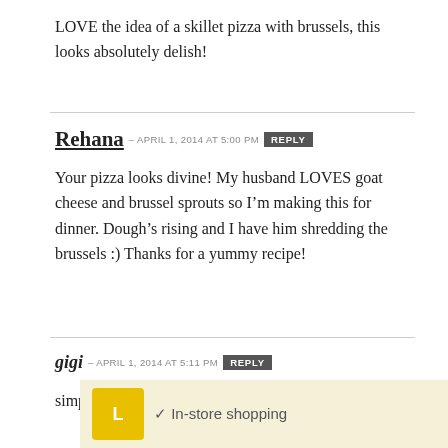LOVE the idea of a skillet pizza with brussels, this looks absolutely delish!
Rehana – APRIL 1, 2014 at 5:00 PM REPLY
Your pizza looks divine! My husband LOVES goat cheese and brussel sprouts so I'm making this for dinner. Dough's rising and I have him shredding the brussels :) Thanks for a yummy recipe!
gigi – APRIL 1, 2014 at 5:11 PM REPLY
simply delicious! great combination with the goat ch... ab... sh...